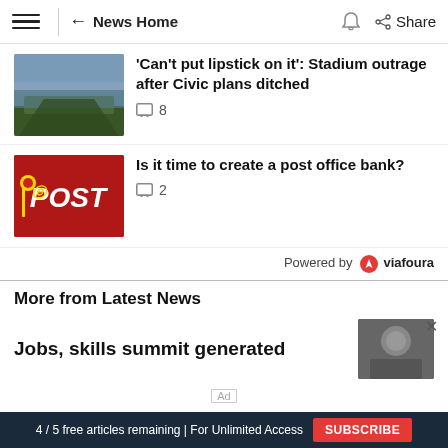News Home  Share
Can't put lipstick on it': Stadium outrage after Civic plans ditched  💬 8
Is it time to create a post office bank?  💬 2
Powered by viafoura
More from Latest News
Jobs, skills summit generated
4 / 5 free articles remaining | For Unlimited Access  SUBSCRIBE